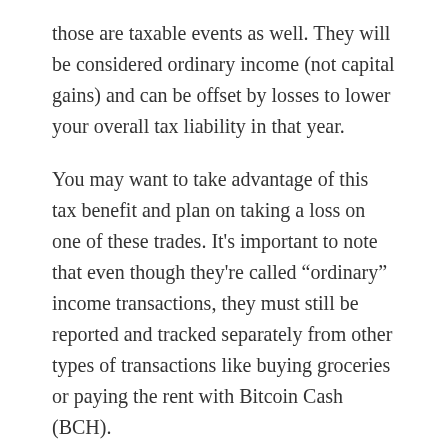those are taxable events as well. They will be considered ordinary income (not capital gains) and can be offset by losses to lower your overall tax liability in that year.
You may want to take advantage of this tax benefit and plan on taking a loss on one of these trades. It's important to note that even though they're called “ordinary” income transactions, they must still be reported and tracked separately from other types of transactions like buying groceries or paying the rent with Bitcoin Cash (BCH).
How Are Taxes Calculated on Cryptocurrencies?